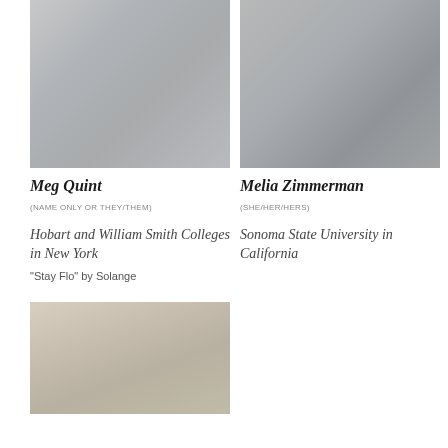[Figure (photo): Photo of Meg Quint, a woman with short hair smiling in front of a white building with steps]
[Figure (photo): Photo of Melia Zimmerman smiling next to a Star Wars Stormtrooper costume character at what appears to be a theme park]
Meg Quint
(NAME ONLY OR THEY/THEM)
Hobart and William Smith Colleges in New York
“Stay Flo” by Solange
Melia Zimmerman
(SHE/HER/HERS)
Sonoma State University in California
[Figure (photo): Photo of a person smiling in front of a Gothic-style university building]